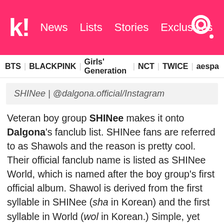k! News Lists Stories Exclusives
BTS BLACKPINK Girls' Generation NCT TWICE aespa
SHINee | @dalgona.official/Instagram
Veteran boy group SHINee makes it onto Dalgona's fanclub list. SHINee fans are referred to as Shawols and the reason is pretty cool. Their official fanclub name is listed as SHINee World, which is named after the boy group's first official album. Shawol is derived from the first syllable in SHINee (sha in Korean) and the first syllable in World (wol in Korean.) Simple, yet incredibly effective!
5. Red Velvet — ReVeluv